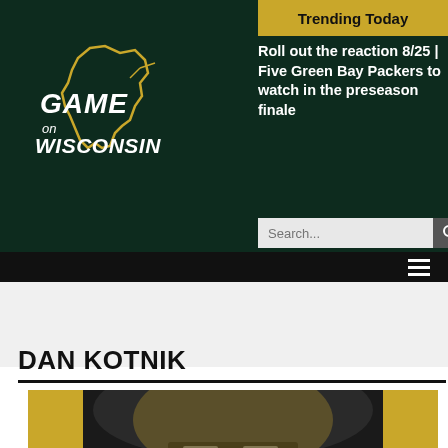[Figure (logo): Game on Wisconsin logo — white italic text 'GAME on WISCONSIN' with yellow outline of Wisconsin state shape on dark green background]
Trending Today
Roll out the reaction 8/25 | Five Green Bay Packers to watch in the preseason finale
Search...
DAN KOTNIK
[Figure (photo): Close-up photo of a dark helmet with yellow/gold background, appears to be a Green Bay Packers football helmet]